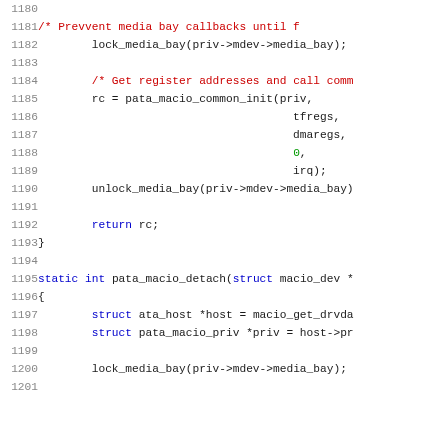[Figure (screenshot): Source code listing showing C code for pata_macio device functions, lines 1180-1201, with syntax highlighting: line numbers in gray, keywords in blue, comments in red, numeric literals in green.]